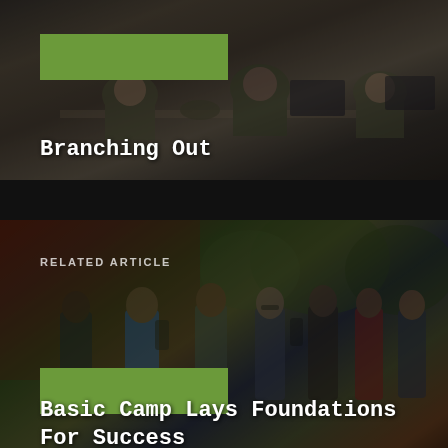[Figure (photo): Soldiers in camouflage uniforms sitting at desks, viewed from behind, dark overlay]
Branching Out
[Figure (photo): Cadets/students standing in a line outdoors near brick building and trees, dark overlay with RELATED ARTICLE label]
Basic Camp Lays Foundations For Success